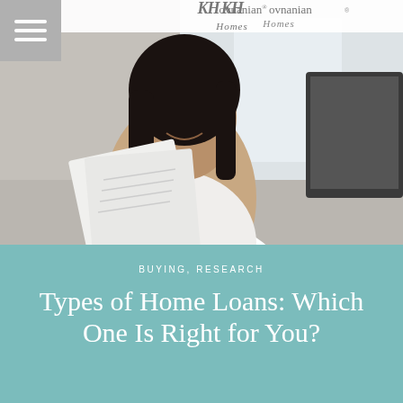[Figure (photo): Woman in white shirt smiling and talking on phone while holding papers, office setting with KHovnanian Homes logo visible at top]
KHovnanian Homes
BUYING, RESEARCH
Types of Home Loans: Which One Is Right for You?